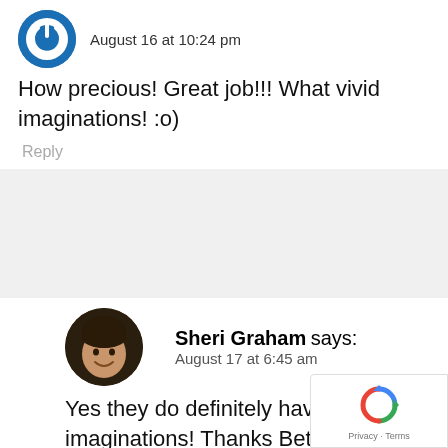August 16 at 10:24 pm
How precious! Great job!!! What vivid imaginations! :o)
Reply
Sheri Graham says: August 17 at 6:45 am
Yes they do definitely have good imaginations! Thanks Bettie!